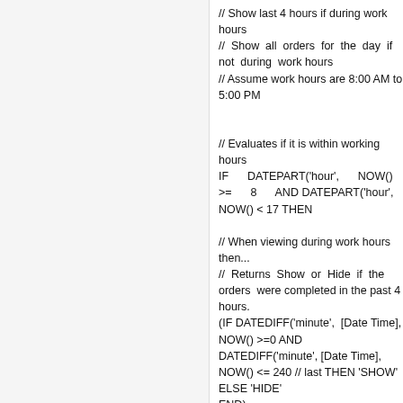// Show last 4 hours if during work hours
// Show all orders for the day if not during work hours
// Assume work hours are 8:00 AM to 5:00 PM


// Evaluates if it is within working hours
IF    DATEPART('hour',    NOW()    >=    8    AND DATEPART('hour', NOW() < 17 THEN

// When viewing during work hours then...
// Returns Show or Hide if the orders were completed in the past 4 hours.
(IF DATEDIFF('minute', [Date Time], NOW() >=0 AND DATEDIFF('minute', [Date Time], NOW() <= 240 // last THEN 'SHOW'
ELSE 'HIDE'
END)

// When NOT viewing during work hours then...
// Returns Show or Hide if the orders were completed during the current day
ELSEIF DATEDIFF('day', [Date Time], NOW() = 0
THEN 'SHOW'